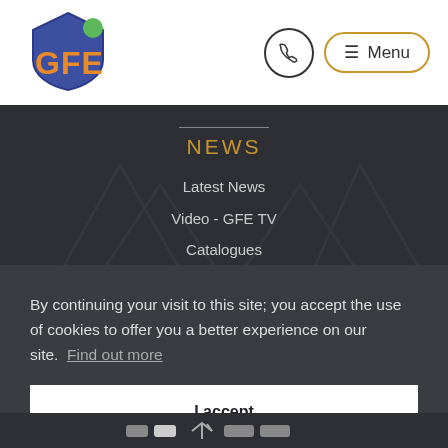[Figure (logo): GFE company logo with shield shape, orange and blue colors, with a green accent]
☰ Menu
NEWS
Latest News
Video - GFE TV
Catalogues
By continuing your visit to this site; you accept the use of cookies to offer you a better experience on our site.  Find out more
I accept